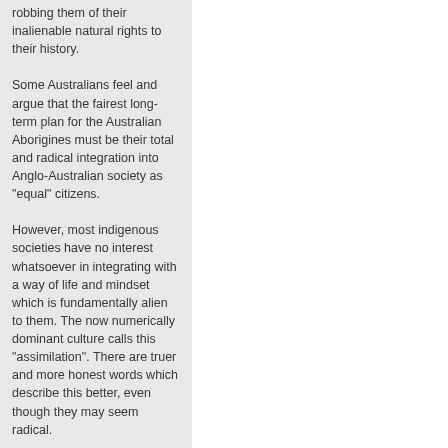robbing them of their inalienable natural rights to their history.
Some Australians feel and argue that the fairest long-term plan for the Australian Aborigines must be their total and radical integration into Anglo-Australian society as "equal" citizens.
However, most indigenous societies have no interest whatsoever in integrating with a way of life and mindset which is fundamentally alien to them. The now numerically dominant culture calls this "assimilation". There are truer and more honest words which describe this better, even though they may seem radical.